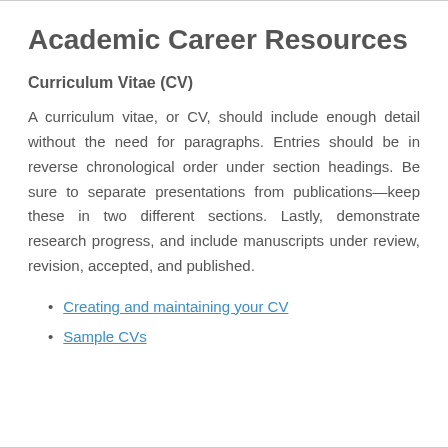Academic Career Resources
Curriculum Vitae (CV)
A curriculum vitae, or CV, should include enough detail without the need for paragraphs. Entries should be in reverse chronological order under section headings. Be sure to separate presentations from publications—keep these in two different sections. Lastly, demonstrate research progress, and include manuscripts under review, revision, accepted, and published.
Creating and maintaining your CV
Sample CVs